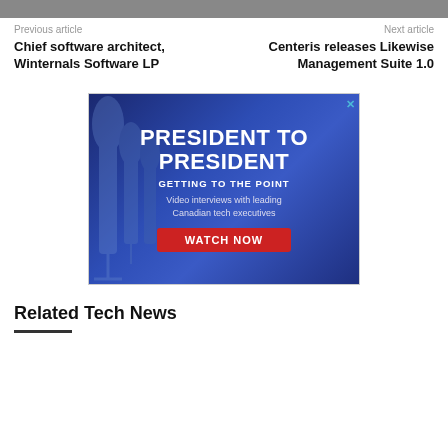Previous article
Next article
Chief software architect, Winternals Software LP
Centeris releases Likewise Management Suite 1.0
[Figure (other): Advertisement banner: PRESIDENT TO PRESIDENT - GETTING TO THE POINT. Video interviews with leading Canadian tech executives. WATCH NOW button. Blue background with microphone imagery.]
Related Tech News